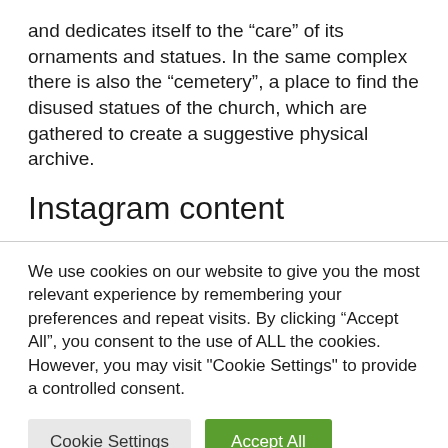and dedicates itself to the “care” of its ornaments and statues. In the same complex there is also the “cemetery”, a place to find the disused statues of the church, which are gathered to create a suggestive physical archive.
Instagram content
We use cookies on our website to give you the most relevant experience by remembering your preferences and repeat visits. By clicking “Accept All”, you consent to the use of ALL the cookies. However, you may visit "Cookie Settings" to provide a controlled consent.